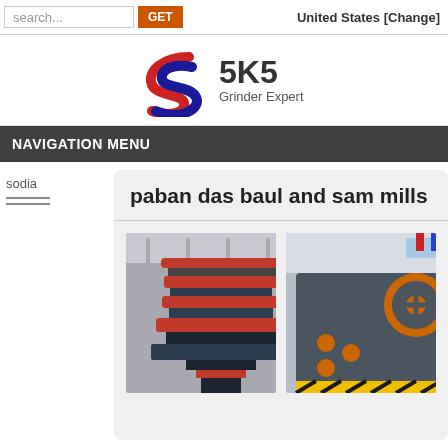search... GET | United States [Change]
[Figure (logo): SKS Grinder Expert logo with stylized red and blue S shapes and bold text '5K5 Grinder Expert']
NAVIGATION MENU
sodia
paban das baul and sam mills
[Figure (photo): Industrial cone crusher machine with red and dark grey layered rings in a factory setting]
[Figure (photo): Industrial jaw crusher machine with orange flywheel in a factory/exhibition hall]